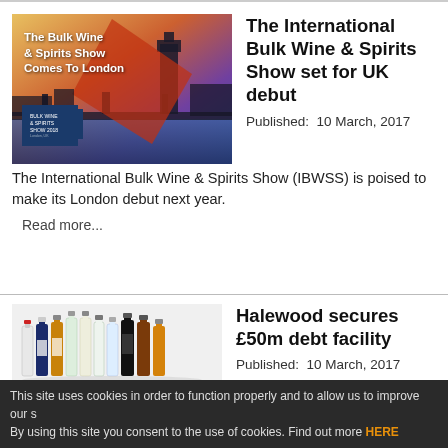[Figure (photo): Promotional image for The Bulk Wine & Spirits Show Comes To London, showing Big Ben and London skyline at sunset with red and purple geometric shapes overlaid. Includes IBWSS badge at bottom left.]
The International Bulk Wine & Spirits Show set for UK debut
Published:  10 March, 2017
The International Bulk Wine & Spirits Show (IBWSS) is poised to make its London debut next year.
Read more...
[Figure (photo): Image showing a row of various wine and spirits bottles of different sizes, colors and shapes arranged together.]
Halewood secures £50m debt facility
Published:  10 March, 2017
Halewood Wines & Spirits has secured a £50m debt facility from Royal Bank of Scotland as part of its strategy to develop a balanced portfolio of spirits.
Read more...
This site uses cookies in order to function properly and to allow us to improve our s By using this site you consent to the use of cookies. Find out more HERE